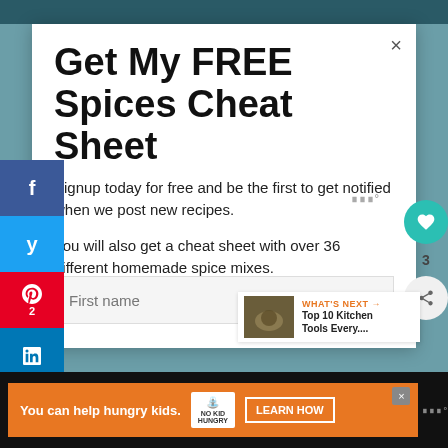Get My FREE Spices Cheat Sheet
Signup today for free and be the first to get notified when we post new recipes.
You will also get a cheat sheet with over 36 different homemade spice mixes.
First name
2 SHARES
f
y
2
in
3
WHAT'S NEXT → Top 10 Kitchen Tools Every....
You can help hungry kids. NO KID HUNGRY LEARN HOW